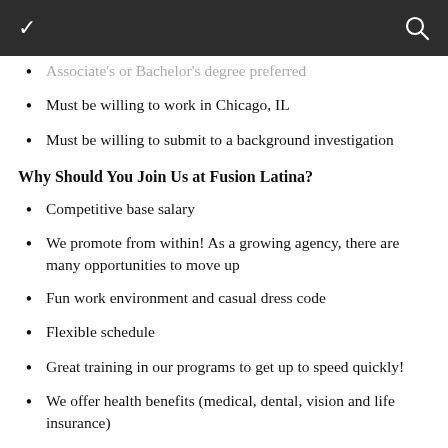Associate's or Bachelor's degree preferred
Must be willing to work in Chicago, IL
Must be willing to submit to a background investigation
Why Should You Join Us at Fusion Latina?
Competitive base salary
We promote from within! As a growing agency, there are many opportunities to move up
Fun work environment and casual dress code
Flexible schedule
Great training in our programs to get up to speed quickly!
We offer health benefits (medical, dental, vision and life insurance)